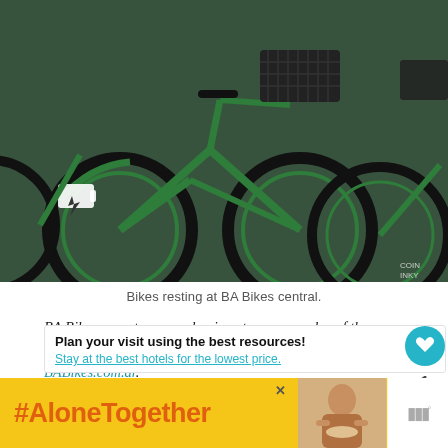[Figure (photo): Row of green BA Bikes electric bicycles with black baskets parked at a station. The bikes are green with black tires. A lightning bolt / battery charge symbol is visible on a fender.]
Bikes resting at BA Bikes central.
BA Bikes operates several unique tours every day of the week. Tours begin at $32 USD. For more information visit BABikes.com.ar.
I was a guest of BA Bikes, however, the opinions are my own.
Plan your visit using the best resources!
Stay at the best hotels for the lowest price.
[Figure (infographic): #AloneTogether ad banner in yellow/orange with image of person and logo marks]